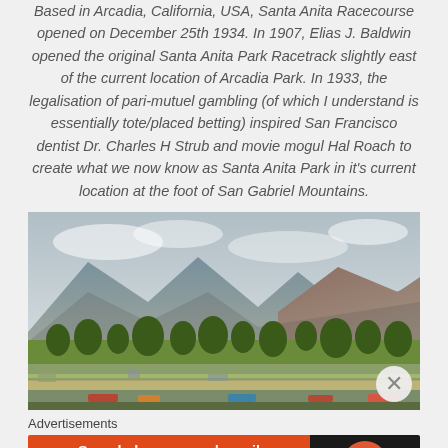Based in Arcadia, California, USA, Santa Anita Racecourse opened on December 25th 1934. In 1907, Elias J. Baldwin opened the original Santa Anita Park Racetrack slightly east of the current location of Arcadia Park. In 1933, the legalisation of pari-mutuel gambling (of which I understand is essentially tote/placed betting) inspired San Francisco dentist Dr. Charles H Strub and movie mogul Hal Roach to create what we now know as Santa Anita Park in it's current location at the foot of San Gabriel Mountains.
[Figure (photo): Aerial/wide view of Santa Anita Park racecourse with the San Gabriel Mountains in the background, palm trees and green trees in the middle ground, and the racetrack visible in the foreground.]
Advertisements
[Figure (screenshot): DuckDuckGo advertisement banner: 'Search, browse, and email with more privacy. All in One Free App' on orange background, with DuckDuckGo logo on dark background.]